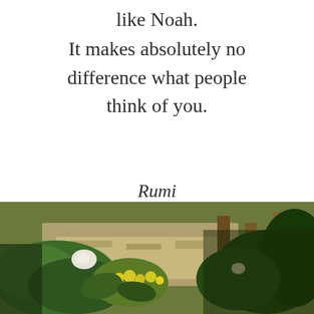like Noah.
It makes absolutely no difference what people think of you.
Rumi
[Figure (photo): Outdoor garden scene with yellow flowers, green plants, a gravel path, and wooden fence posts in dappled sunlight.]